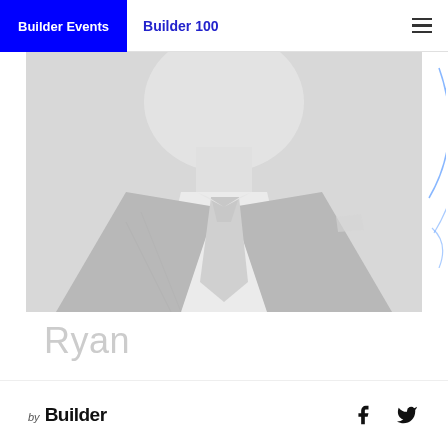Builder Events | Builder 100
[Figure (photo): Headless torso of a person in a grey suit with white shirt and grey tie, greyscale photo placeholder]
Ryan
(partially visible last name/subtitle text)
by Builder [Facebook icon] [Twitter icon]